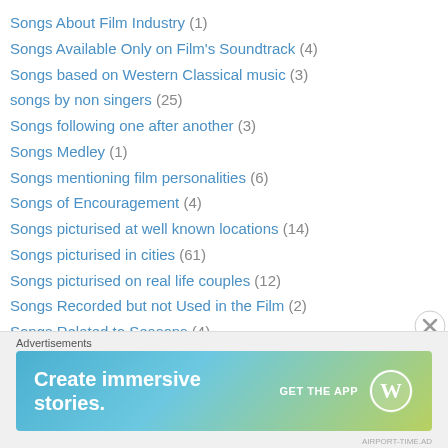Songs About Film Industry (1)
Songs Available Only on Film's Soundtrack (4)
Songs based on Western Classical music (3)
songs by non singers (25)
Songs following one after another (3)
Songs Medley (1)
Songs mentioning film personalities (6)
Songs of Encouragement (4)
Songs picturised at well known locations (14)
Songs picturised in cities (61)
Songs picturised on real life couples (12)
Songs Recorded but not Used in the Film (2)
Songs Related to Seasons (4)
Basant Ritu Songs (3)
Songs reused again in subsequent movies (10)
Songs sung by Kavi Pradeep (3)
[Figure (screenshot): Advertisement banner: 'Create immersive stories. GET THE APP' with WordPress logo on gradient blue-green-yellow background]